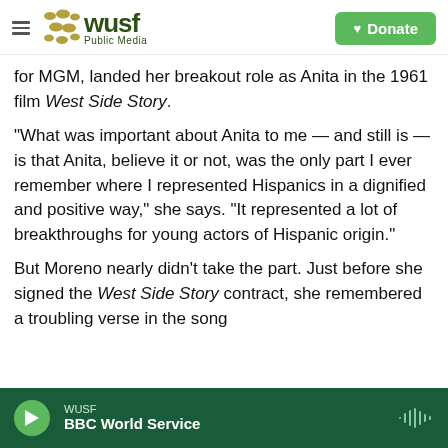WUSF Public Media | Donate
for MGM, landed her breakout role as Anita in the 1961 film West Side Story.
"What was important about Anita to me — and still is — is that Anita, believe it or not, was the only part I ever remember where I represented Hispanics in a dignified and positive way," she says. "It represented a lot of breakthroughs for young actors of Hispanic origin."
But Moreno nearly didn't take the part. Just before she signed the West Side Story contract, she remembered a troubling verse in the song
WUSF | BBC World Service